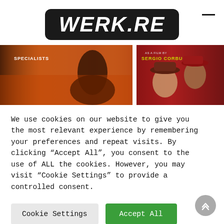[Figure (logo): WERK.RE logo in white bold italic text on a dark rounded rectangle]
[Figure (photo): Two movie poster images side by side — western/spaghetti western genre. Left shows a cowboy on horseback with fire, text 'SPECIALISTS'. Right shows a Sergio Corbucci film with actors in western hats.]
We use cookies on our website to give you the most relevant experience by remembering your preferences and repeat visits. By clicking “Accept All”, you consent to the use of ALL the cookies. However, you may visit “Cookie Settings” to provide a controlled consent.
Cookie Settings   Accept All